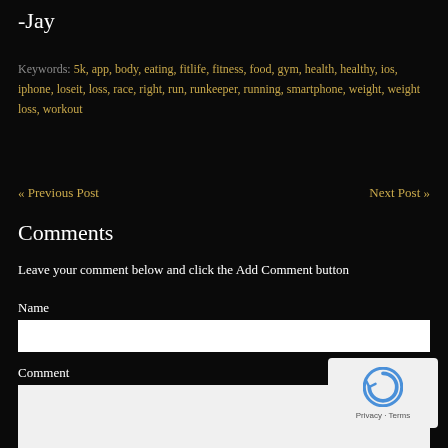-Jay
Keywords: 5k, app, body, eating, fitlife, fitness, food, gym, health, healthy, ios, iphone, loseit, loss, race, right, run, runkeeper, running, smartphone, weight, weight loss, workout
« Previous Post
Next Post »
Comments
Leave your comment below and click the Add Comment button
Name
Comment